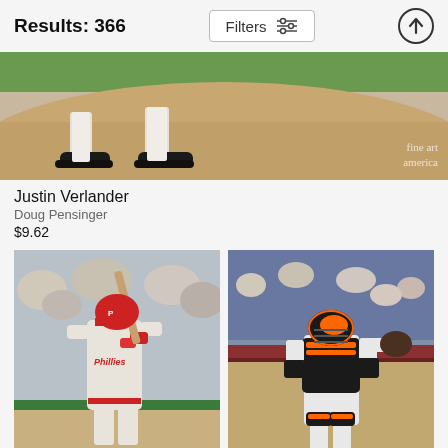Results: 366
Filters
[Figure (photo): Cropped photo of a baseball pitcher's feet and lower legs on a pitching mound, with dirt and grass visible. Fine Art America watermark in bottom right.]
Justin Verlander
Doug Pensinger
$9.62
[Figure (photo): Philadelphia Phillies batter in red helmet swinging bat, wearing grey uniform with 'Phillies' script, crowd in background.]
[Figure (photo): Baseball catcher in San Francisco Giants uniform with orange and black gear, standing in front of dugout railing with crowd behind.]